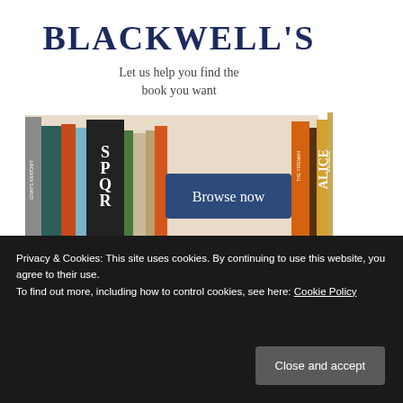[Figure (illustration): Blackwell's bookstore advertisement with logo, tagline 'Let us help you find the book you want', shelf of books with 'Browse now' button overlay]
SUBSCRIBE TO BLOG VIA EMAIL
Enter your email address to subscribe to this blog and receive
Privacy & Cookies: This site uses cookies. By continuing to use this website, you agree to their use. To find out more, including how to control cookies, see here: Cookie Policy
Close and accept